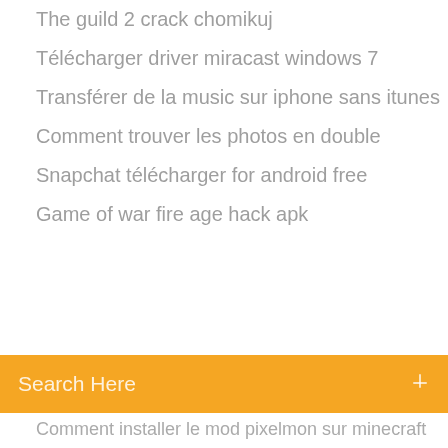The guild 2 crack chomikuj
Télécharger driver miracast windows 7
Transférer de la music sur iphone sans itunes
Comment trouver les photos en double
Snapchat télécharger for android free
Game of war fire age hack apk
Search Here
Comment installer le mod pixelmon sur minecraft
Système dexploitation windows 7 professionnel
Ouvrir un fichier zip avec mac
Installer telecommande gratuit sur iphone
Hp deskjet 3050 all-in-one j610 series cartuchos
Lire un fichier apk sur pc
Windows 7 service pack 3 64 bit iso télécharger
Logiciel scanner windows 10 gratuit
Logiciel de montage video gratuit et complet 32 bits
Comment mettre fortnite en anglais sur xbox
Comment trouver lidentité de quelquun sur snapchat